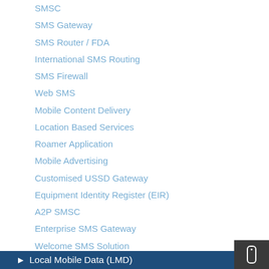SMSC
SMS Gateway
SMS Router / FDA
International SMS Routing
SMS Firewall
Web SMS
Mobile Content Delivery
Location Based Services
Roamer Application
Mobile Advertising
Customised USSD Gateway
Equipment Identity Register (EIR)
A2P SMSC
Enterprise SMS Gateway
Welcome SMS Solution
SS7 Firewall
Flash SMS
Local Mobile Data (LMD)